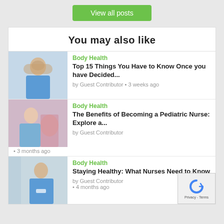View all posts
You may also like
[Figure (photo): Female nurse in hijab wearing blue scrubs with stethoscope]
Body Health
Top 15 Things You Have to Know Once you have Decided...
by Guest Contributor • 3 weeks ago
[Figure (photo): Female nurse smiling with a young child/toddler]
Body Health
The Benefits of Becoming a Pediatric Nurse: Explore a...
by Guest Contributor • 3 months ago
[Figure (photo): Female nurse in blue scrubs standing in a hallway]
Body Health
Staying Healthy: What Nurses Need to Know
by Guest Contributor • 4 months ago